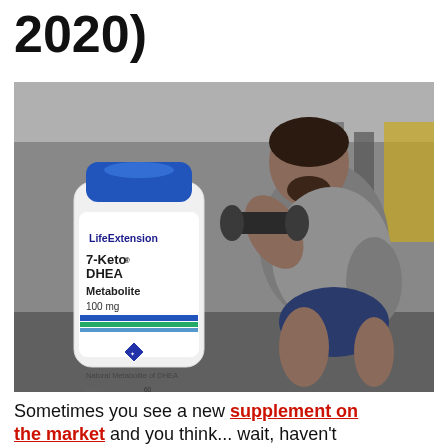2020)
[Figure (photo): A man lifting dumbbells in a gym, with a Life Extension 7-Keto DHEA Metabolite 100mg supplement bottle in the foreground.]
Sometimes you see a new supplement on the market and you think... wait, haven't